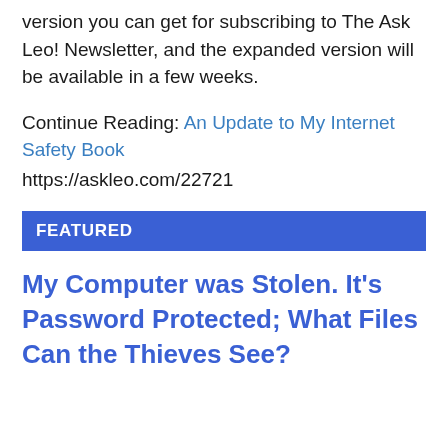version you can get for subscribing to The Ask Leo! Newsletter, and the expanded version will be available in a few weeks.
Continue Reading: An Update to My Internet Safety Book
https://askleo.com/22721
FEATURED
My Computer was Stolen. It's Password Protected; What Files Can the Thieves See?